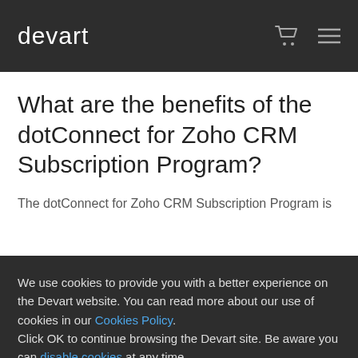devart
What are the benefits of the dotConnect for Zoho CRM Subscription Program?
The dotConnect for Zoho CRM Subscription Program is
We use cookies to provide you with a better experience on the Devart website. You can read more about our use of cookies in our Cookies Policy. Click OK to continue browsing the Devart site. Be aware you can disable cookies at any time.